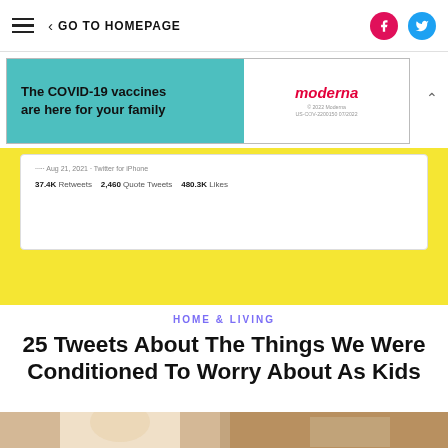GO TO HOMEPAGE
[Figure (infographic): Advertisement banner for Moderna COVID-19 vaccines. Left side teal/cyan background with bold text 'The COVID-19 vaccines are here for your family'. Right side white background with Moderna logo and fine print '© 2022 Moderna US-COV-2200150 07/2022'.]
[Figure (screenshot): Tweet screenshot on yellow background showing stats: 37.4K Retweets, 2,460 Quote Tweets, 480.3K Likes]
HOME & LIVING
25 Tweets About The Things We Were Conditioned To Worry About As Kids
[Figure (photo): Photo of three women taking a selfie on a couch indoors, smiling, wearing sunglasses.]